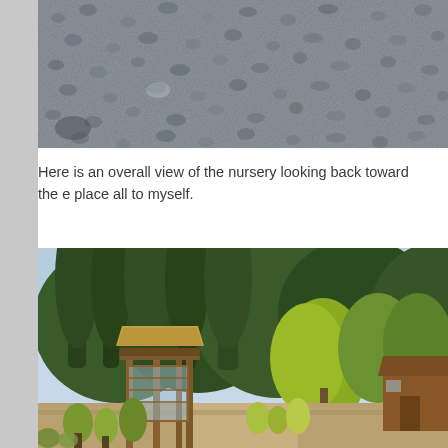[Figure (photo): Close-up photo of gray gravel/crushed stone aggregate]
Here is an overall view of the nursery looking back toward the e… place all to myself.
[Figure (photo): Outdoor nursery with wooden pergola/gazebo structure, trees and shrubs for sale, forested hillside in background]